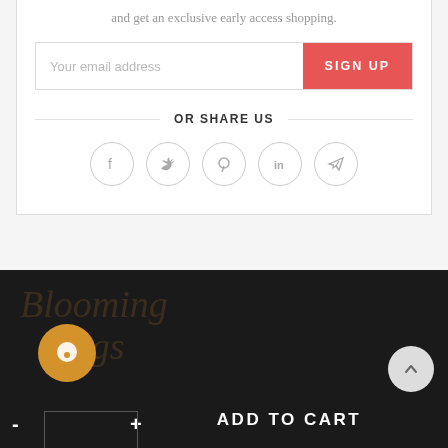and get an exclusive early access shopping.
Your email address
SIGN UP
OR SHARE US
[Figure (infographic): Social media share icons: Facebook, Twitter, Pinterest, LinkedIn, Telegram — each in a gray circle outline]
[Figure (infographic): Dark footer section with cursive logo text, orange chat button, minus/plus quantity controls, ADD TO CART button, and scroll-to-top arrow button]